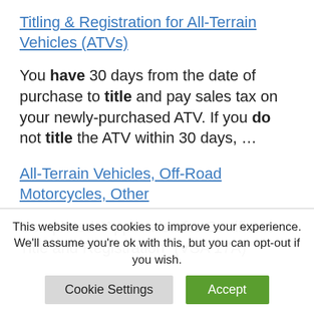Titling & Registration for All-Terrain Vehicles (ATVs)
You have 30 days from the date of purchase to title and pay sales tax on your newly-purchased ATV. If you do not title the ATV within 30 days, ...
All-Terrain Vehicles, Off-Road Motorcycles, Other
Completed “Application for Certificate of Title and Registration” (VSA 17A)
This website uses cookies to improve your experience. We’ll assume you’re ok with this, but you can opt-out if you wish.